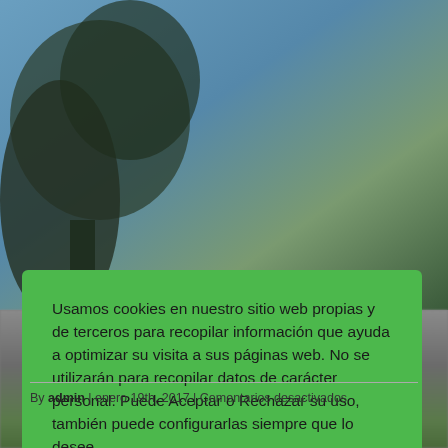[Figure (photo): Background photo showing tree branches against a blue sky, partially obscured by a green cookie consent overlay]
Usamos cookies en nuestro sitio web propias y de terceros para recopilar información que ayuda a optimizar su visita a sus páginas web. No se utilizarán para recopilar datos de carácter personal. Puede Aceptar o Rechazar su uso, también puede configurarlas siempre que lo desee.
Configuración Cookies   RECHAZAR   ACEPTAR
By admin | enero 19th, 2017 | Comentarios desactivados